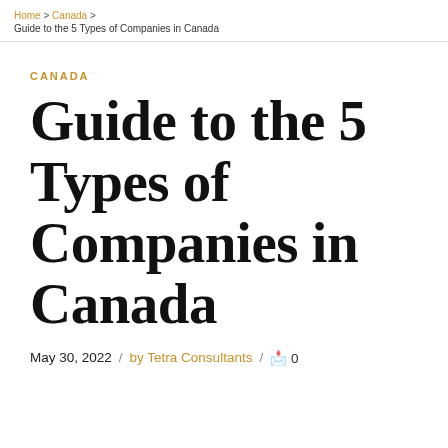Home > Canada > Guide to the 5 Types of Companies in Canada
CANADA
Guide to the 5 Types of Companies in Canada
May 30, 2022 / by Tetra Consultants / 🗩 0